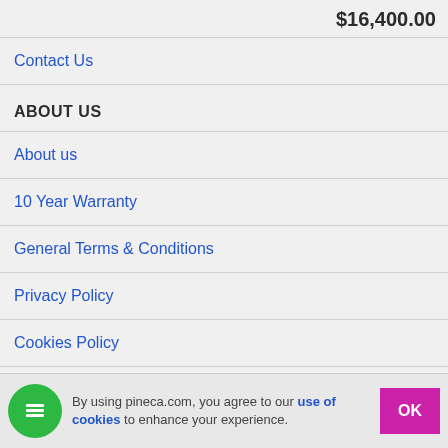$16,400.00
Contact Us
ABOUT US
About us
10 Year Warranty
General Terms & Conditions
Privacy Policy
Cookies Policy
Testimonials
By using pineca.com, you agree to our use of cookies to enhance your experience.